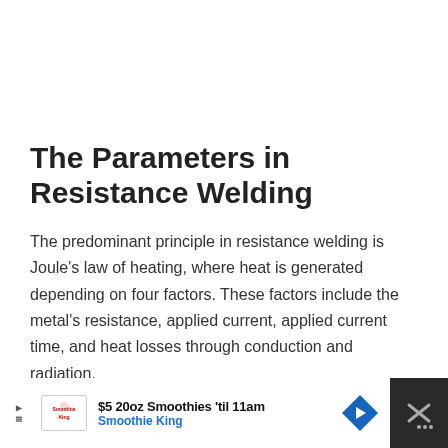The Parameters in Resistance Welding
The predominant principle in resistance welding is Joule's law of heating, where heat is generated depending on four factors. These factors include the metal's resistance, applied current, applied current time, and heat losses through conduction and radiation.
[Figure (other): Advertisement banner: '$5 20oz Smoothies 'til 11am' with Smoothie King logo and navigation arrow icon. Dark background with white content area and close button.]